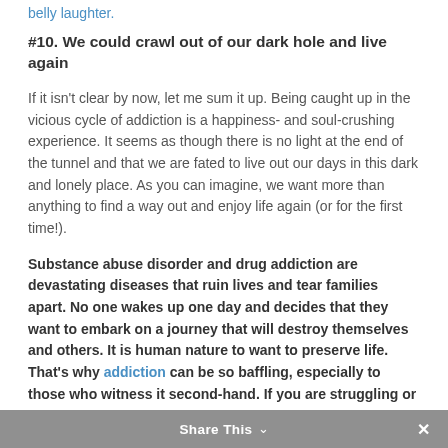belly laughter.
#10. We could crawl out of our dark hole and live again
If it isn't clear by now, let me sum it up. Being caught up in the vicious cycle of addiction is a happiness- and soul-crushing experience. It seems as though there is no light at the end of the tunnel and that we are fated to live out our days in this dark and lonely place. As you can imagine, we want more than anything to find a way out and enjoy life again (or for the first time!).
Substance abuse disorder and drug addiction are devastating diseases that ruin lives and tear families apart. No one wakes up one day and decides that they want to embark on a journey that will destroy themselves and others. It is human nature to want to preserve life. That's why addiction can be so baffling, especially to those who witness it second-hand. If you are struggling or
Share This